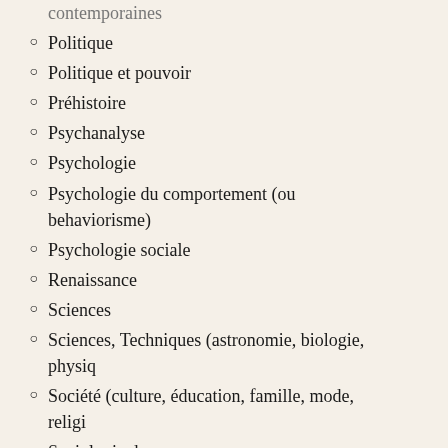contemporaines
Politique
Politique et pouvoir
Préhistoire
Psychanalyse
Psychologie
Psychologie du comportement (ou behaviorisme)
Psychologie sociale
Renaissance
Sciences
Sciences, Techniques (astronomie, biologie, physiq
Société (culture, éducation, famille, mode, religi
Sociologie du genre
Sociologie, sciences sociales
Sorcellerie
Systèmes médiatiques, SIC et TIC